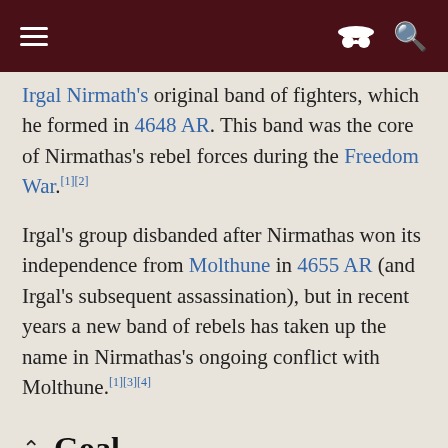[hamburger menu] [incognito icon] [search icon]
Irgal Nirmath's original band of fighters, which he formed in 4648 AR. This band was the core of Nirmathas's rebel forces during the Freedom War.[1][2]
Irgal's group disbanded after Nirmathas won its independence from Molthune in 4655 AR (and Irgal's subsequent assassination), but in recent years a new band of rebels has taken up the name in Nirmathas's ongoing conflict with Molthune.[1][3][4]
Goal
Irgal's Axe aids other Nirmathi troops with